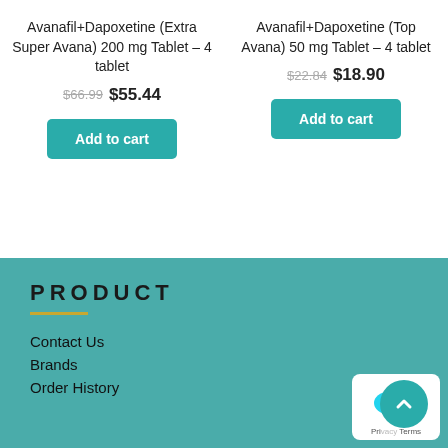Avanafil+Dapoxetine (Extra Super Avana) 200 mg Tablet – 4 tablet
$66.99 $55.44
Add to cart
Avanafil+Dapoxetine (Top Avana) 50 mg Tablet – 4 tablet
$22.84 $18.90
Add to cart
PRODUCT
Contact Us
Brands
Order History